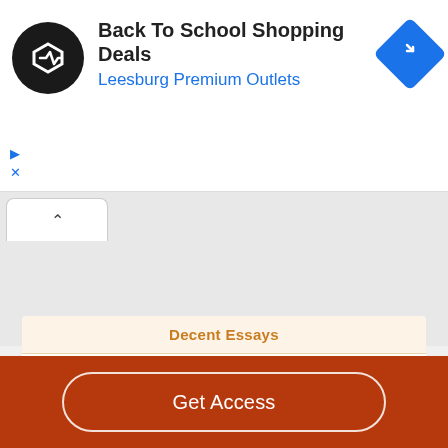[Figure (other): Advertisement banner for Back To School Shopping Deals at Leesburg Premium Outlets, with a circular black logo icon and a blue diamond navigation icon]
Back To School Shopping Deals
Leesburg Premium Outlets
[Figure (other): Browser tab area with an upward chevron tab button]
Decent Essays
Reflection About Reading And Writing
819 Words
Get Access